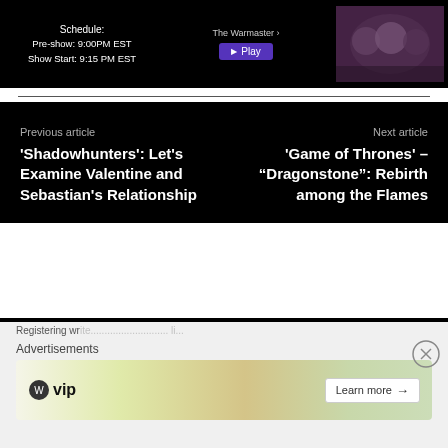[Figure (screenshot): Top banner with schedule info: Pre-show 9:00PM EST, Show Start 9:15 PM EST, a play button area, and a photo of people on the right]
Previous article
'Shadowhunters': Let's Examine Valentine and Sebastian's Relationship
Next article
'Game of Thrones' – "Dragonstone": Rebirth among the Flames
Related articles
Advertisements
[Figure (screenshot): WordPress VIP advertisement banner with a map/social media background and Learn more button]